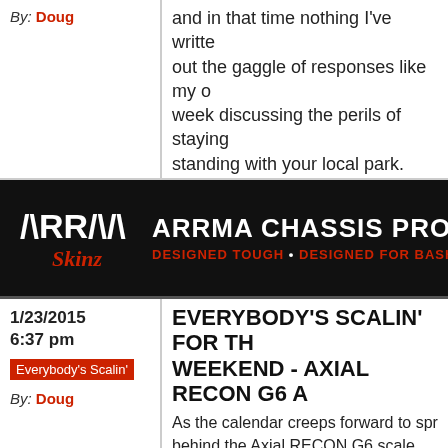By: Doug
and in that time nothing I've written out the gaggle of responses like my o... week discussing the perils of staying standing with your local park. Thank
Read More...
[Figure (logo): ARRMA Skinz banner advertisement. Black background with ARRMA Skinz logo on left and text 'ARRMA CHASSIS PROTECTORS - DESIGNED TOUGH • DESIGNED FOR BASHING' on right in white and red.]
1/23/2015 6:37 pm
Everybody's Scalin'
By: Doug
EVERYBODY'S SCALIN' FOR TH WEEKEND - AXIAL RECON G6 A
As the calendar creeps forward to spr behind the Axial RECON G6 scale adv are prepping for what they hope will banner year. If you aren't familiar wit exactly a RECON G6 is, check out an